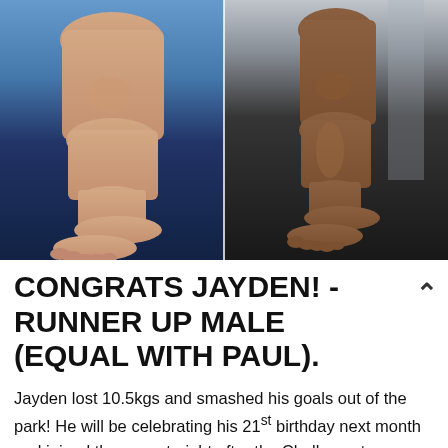[Figure (photo): Before and after comparison photos showing legs from the side. Left photo shows heavier legs against a blue background. Right photo shows leaner, more muscular legs against a grey/dark background.]
CONGRATS JAYDEN! - RUNNER UP MALE (EQUAL WITH PAUL).
Jayden lost 10.5kgs and smashed his goals out of the park! He will be celebrating his 21st birthday next month and joined the gym straight after the Challenge to ensure